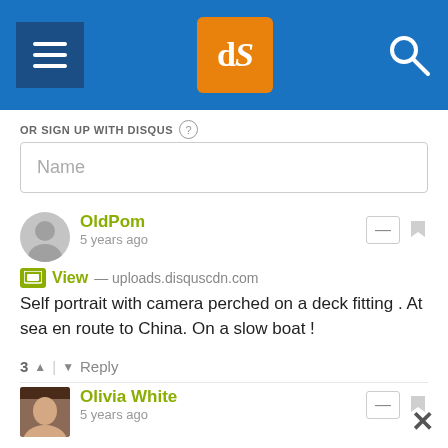[Figure (screenshot): Website header bar with hamburger menu, dPS logo on orange background, and search icon on blue background]
OR SIGN UP WITH DISQUS
Name
OldPom
5 years ago
View — uploads.disquscdn.com
Self portrait with camera perched on a deck fitting . At sea en route to China. On a slow boat !
3  ^  |  v  Reply
Olivia White
5 years ago
We tried that here, only I was looking out of the space. Does it work?